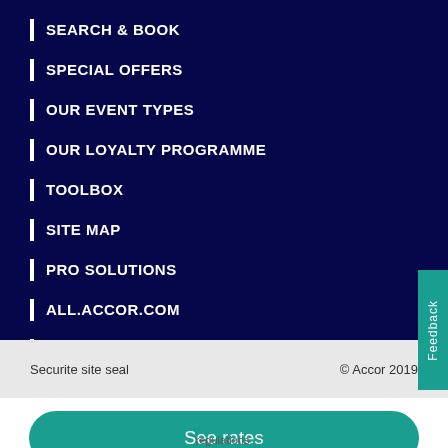SEARCH & BOOK
SPECIAL OFFERS
OUR EVENT TYPES
OUR LOYALTY PROGRAMME
TOOLBOX
SITE MAP
PRO SOLUTIONS
ALL.ACCOR.COM
ACCOR GROUP
Securite site seal   © Accor 2019
See rates
regulations.